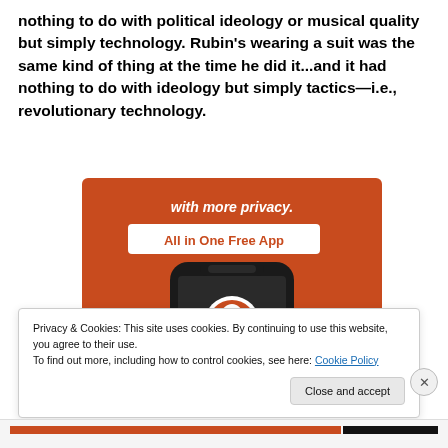nothing to do with political ideology or musical quality but simply technology. Rubin's wearing a suit was the same kind of thing at the time he did it...and it had nothing to do with ideology but simply tactics—i.e., revolutionary technology.
[Figure (illustration): Advertisement banner for DuckDuckGo app on orange background showing text 'with more privacy.' and 'All in One Free App' with a smartphone displaying the DuckDuckGo duck logo]
Privacy & Cookies: This site uses cookies. By continuing to use this website, you agree to their use.
To find out more, including how to control cookies, see here: Cookie Policy
Close and accept